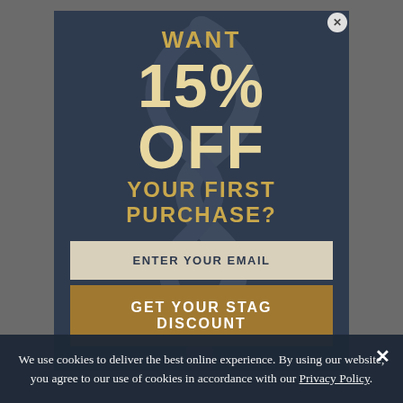WANT 15% OFF YOUR FIRST PURCHASE?
ENTER YOUR EMAIL
GET YOUR STAG DISCOUNT
We use cookies to deliver the best online experience. By using our website, you agree to our use of cookies in accordance with our Privacy Policy.